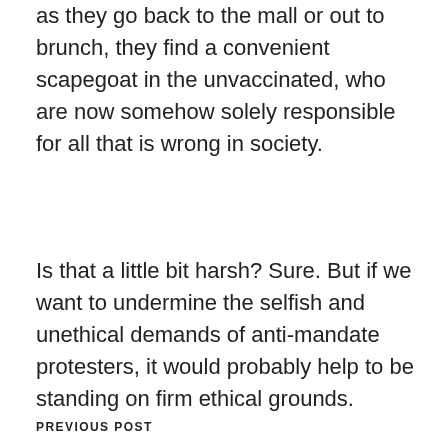...bathed in the holy waters of Lourdes. And as they go back to the mall or out to brunch, they find a convenient scapegoat in the unvaccinated, who are now somehow solely responsible for all that is wrong in society.
Is that a little bit harsh? Sure. But if we want to undermine the selfish and unethical demands of anti-mandate protesters, it would probably help to be standing on firm ethical grounds.
PREVIOUS POST